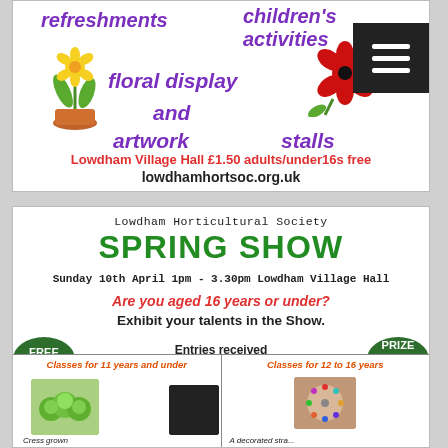[Figure (infographic): Top flyer for Lowdham Horticultural Society event showing purple italic text: refreshments, children's activities, floral display and artwork, stalls, with daffodil and red flower images and hamburger menu icon]
Lowdham Village Hall £1.50 adults/under16s free
lowdhamhortsoc.org.uk
[Figure (infographic): Spring Show flyer for Lowdham Horticultural Society. Text: SPRING SHOW, Sunday 10th April 1pm - 3.30pm Lowdham Village Hall, Are you aged 16 years or under? Exhibit your talents in the Show. FREE ENTRY oval, Entries received from 9.30 -11.30am, PRIZE FOR ALL ENTRIES oval. Classes for 11 years and under, Classes for 12 to 16 years with images of cress grown and decorated item.]